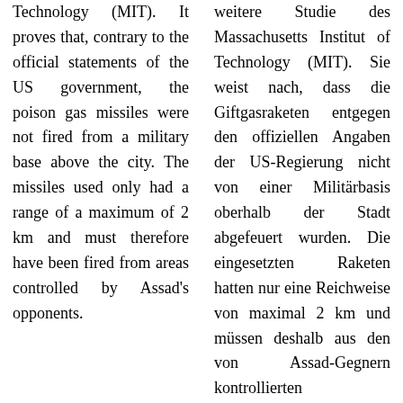Technology (MIT). It proves that, contrary to the official statements of the US government, the poison gas missiles were not fired from a military base above the city. The missiles used only had a range of a maximum of 2 km and must therefore have been fired from areas controlled by Assad's opponents.
weitere Studie des Massachusetts Institut of Technology (MIT). Sie weist nach, dass die Giftgasraketen entgegen den offiziellen Angaben der US-Regierung nicht von einer Militärbasis oberhalb der Stadt abgefeuert wurden. Die eingesetzten Raketen hatten nur eine Reichweise von maximal 2 km und müssen deshalb aus den von Assad-Gegnern kontrollierten Gebieten abgefeuert worden sein.
Against this background, in view of Donald Trump's unpredictability and his
Vor diesem Hintergrund ist es angesichts der Unberechenbarkeit von